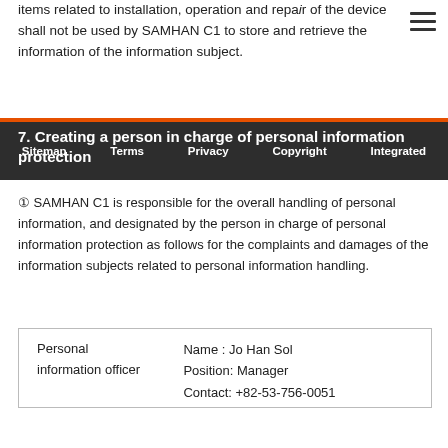items related to installation, operation and repaIR of the device shall not be used by SAMHAN C1 to store and retrieve the information of the information subject.
7. Creating a person in charge of personal information protection
Sitemap   Terms   Privacy   Copyright   Integrated
① SAMHAN C1 is responsible for the overall handling of personal information, and designated by the person in charge of personal information protection as follows for the complaints and damages of the information subjects related to personal information handling.
| Personal information officer | Name : Jo Han Sol
Position: Manager
Contact: +82-53-756-0051 |
② Information subject can contact the personal information protection manager and the responsible department for all personal information protection inquiries, complaints, and damages caused by using the service (or business) of SAMHAN C1. SAMHAN C1 will respond promptly to inquiries from the information subject.
8. Changed Privacy Policy